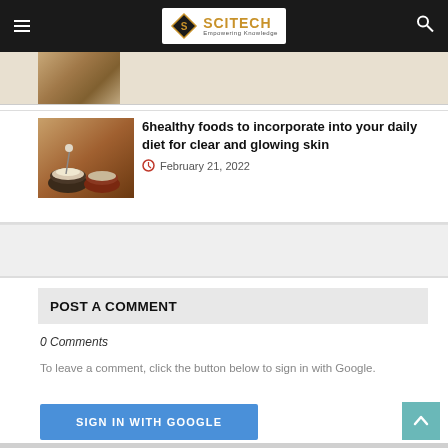SCITECH - Empowering Knowledge
[Figure (photo): Partially cropped food/dish image at top of page]
6healthy foods to incorporate into your daily diet for clear and glowing skin
February 21, 2022
POST A COMMENT
0 Comments
To leave a comment, click the button below to sign in with Google.
SIGN IN WITH GOOGLE